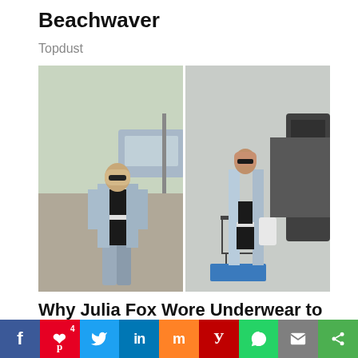Beachwaver
Topdust
[Figure (photo): Two side-by-side paparazzi photos of Julia Fox wearing a black bikini/underwear with a long light blue denim coat and grey knee-high boots, shopping at a grocery store parking lot.]
Why Julia Fox Wore Underwear to the Grocery Store: The Case for
f  4  p  t  in  m  y  (WhatsApp icon)  (email icon)  (share icon)